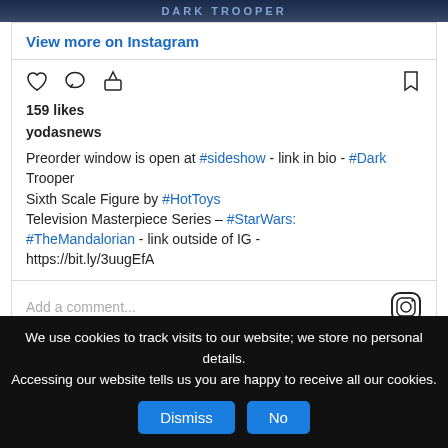[Figure (screenshot): Partial top of Dark Trooper collectible figure box art image]
View more on Instagram
[Figure (other): Instagram action icons: heart (like), comment bubble, share arrow, and bookmark]
159 likes
yodasnews
Preorder window is open at #sideshow - link in bio - #Dark Trooper Sixth Scale Figure by #HotToys Television Masterpiece Series – #StarWars: #TheMandalorian - link outside of IG - https://bit.ly/3uugEfA
Add a comment...
Posted in Sideshow Collectibles | Tagged Dark Trooper
We use cookies to track visits to our website; we store no personal details. Accessing our website tells us you are happy to receive all our cookies.